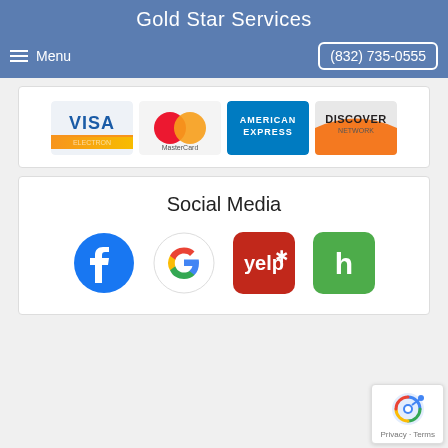Gold Star Services
Menu    (832) 735-0555
[Figure (logo): Payment method logos: Visa, MasterCard, American Express, Discover]
Social Media
[Figure (logo): Social media icons: Facebook, Google, Yelp, Houzz]
[Figure (logo): Google reCAPTCHA badge with Privacy and Terms links]